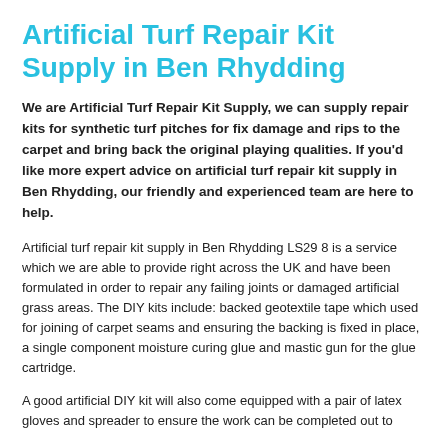Artificial Turf Repair Kit Supply in Ben Rhydding
We are Artificial Turf Repair Kit Supply, we can supply repair kits for synthetic turf pitches for fix damage and rips to the carpet and bring back the original playing qualities. If you'd like more expert advice on artificial turf repair kit supply in Ben Rhydding, our friendly and experienced team are here to help.
Artificial turf repair kit supply in Ben Rhydding LS29 8 is a service which we are able to provide right across the UK and have been formulated in order to repair any failing joints or damaged artificial grass areas. The DIY kits include: backed geotextile tape which used for joining of carpet seams and ensuring the backing is fixed in place, a single component moisture curing glue and mastic gun for the glue cartridge.
A good artificial DIY kit will also come equipped with a pair of latex gloves and spreader to ensure the work can be completed out to